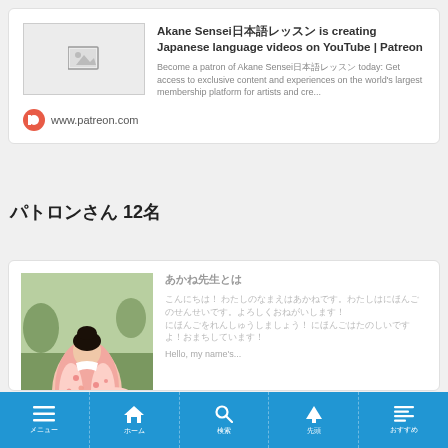[Figure (screenshot): Patreon link card with thumbnail image placeholder, bold title 'Akane Sensei｛Japanese chars｝ is creating Japanese language videos on YouTube | Patreon', description text, and patreon.com URL with Patreon logo icon]
｛Japanese text｝ 12｛Japanese chars｝
[Figure (photo): Woman in pink floral kimono standing in a field, viewed from behind/side]
｛Japanese text｝
｛Japanese text｝ Hello, my name's...
｛Japanese menu icons: hamburger menu, home, search, up arrow, text align｝